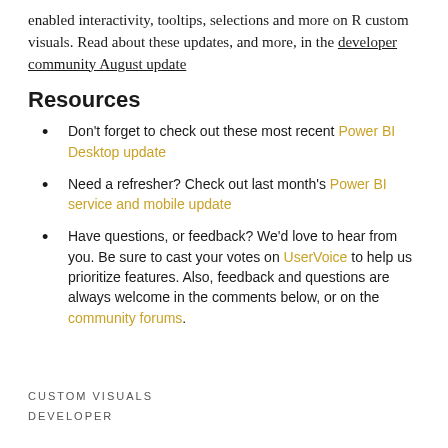enabled interactivity, tooltips, selections and more on R custom visuals. Read about these updates, and more, in the developer community August update
Resources
Don't forget to check out these most recent Power BI Desktop update
Need a refresher? Check out last month's Power BI service and mobile update
Have questions, or feedback? We'd love to hear from you. Be sure to cast your votes on UserVoice to help us prioritize features. Also, feedback and questions are always welcome in the comments below, or on the community forums.
CUSTOM VISUALS
DEVELOPER